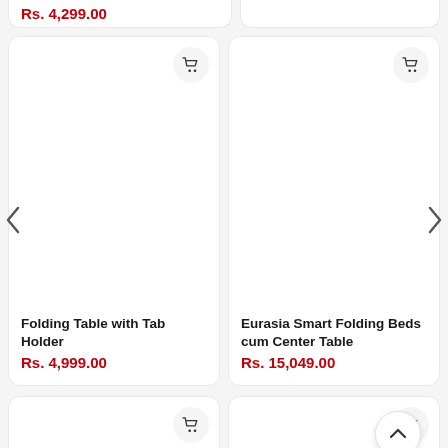Rs. 4,299.00
[Figure (screenshot): Product card for Folding Table with Tab Holder, showing empty image area and shopping cart button]
Folding Table with Tab Holder
Rs. 4,999.00
[Figure (screenshot): Product card for Eurasia Smart Folding Beds cum Center Table, showing empty image area and shopping cart button]
Eurasia Smart Folding Beds cum Center Table
Rs. 15,049.00
[Figure (screenshot): Third product card (bottom left), empty image area with shopping cart button]
[Figure (screenshot): Fourth product card (bottom right), empty image area with shopping cart button and scroll-to-top button]